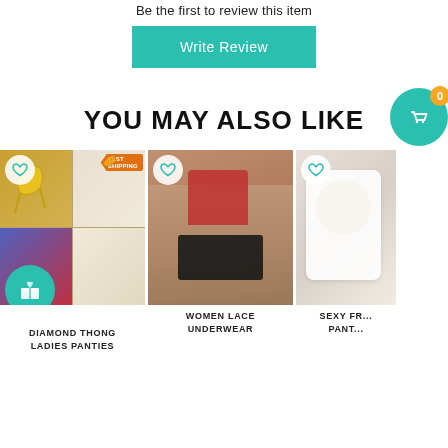Be the first to review this item
Write Review
YOU MAY ALSO LIKE
[Figure (photo): Product image for Diamond Thong Ladies Panties — collage of yellow macrame panties, white thong, red and blue thong with Fast Shipping badge]
DIAMOND THONG LADIES PANTIES
[Figure (photo): Product image for Women Lace Underwear — photo of woman wearing red top and black lace underwear on bed]
WOMEN LACE UNDERWEAR
[Figure (photo): Product image for Sexy Fr... Pant... — partial image of white lingerie/panties]
SEXY FR... PANT...